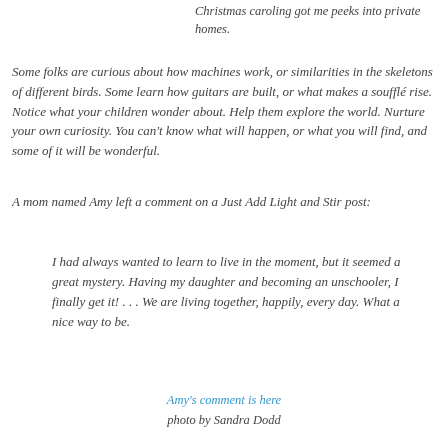Christmas caroling got me peeks into private homes.
Some folks are curious about how machines work, or similarities in the skeletons of different birds. Some learn how guitars are built, or what makes a soufflé rise. Notice what your children wonder about. Help them explore the world. Nurture your own curiosity. You can't know what will happen, or what you will find, and some of it will be wonderful.
A mom named Amy left a comment on a Just Add Light and Stir post:
I had always wanted to learn to live in the moment, but it seemed a great mystery. Having my daughter and becoming an unschooler, I finally get it! . . . We are living together, happily, every day. What a nice way to be.
Amy's comment is here
photo by Sandra Dodd